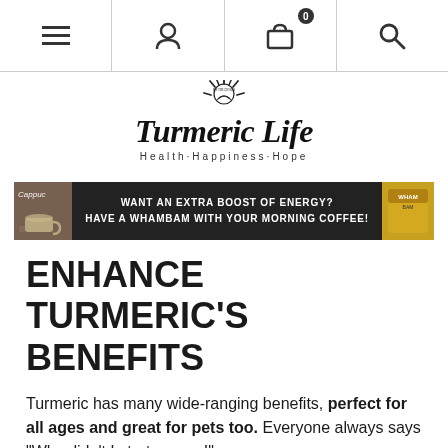[Navigation bar with menu, profile, cart (0), and search icons]
[Figure (logo): Turmeric Life logo with sun/rays design and tagline Health·Happiness·Hope, by Dr Doug]
[Figure (infographic): Dark banner ad: WANT AN EXTRA BOOST OF ENERGY? HAVE A WHAMBAM WITH YOUR MORNING COFFEE! with coffee cup image on left and yellow product box on right]
ENHANCE TURMERIC'S BENEFITS
Turmeric has many wide-ranging benefits, perfect for all ages and great for pets too. Everyone always says "Why didn't I start sooner!"